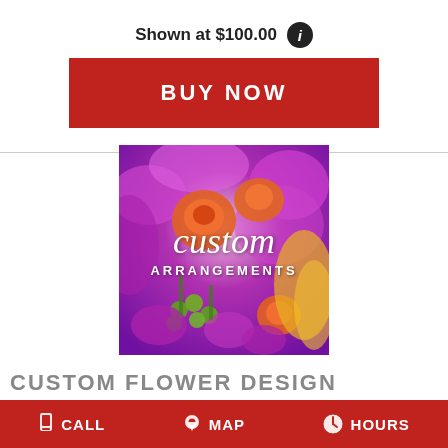Shown at $100.00
BUY NOW
[Figure (photo): Colorful custom flower arrangement with orange roses, purple carnations, green berries, and yellow lilies with script text 'custom ARRANGEMENTS' overlaid in white]
CUSTOM FLOWER DESIGN
Let us create a custom flower arrangement for you.
CALL   MAP   HOURS